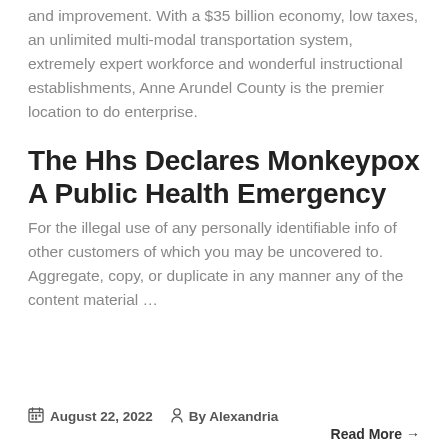and improvement. With a $35 billion economy, low taxes, an unlimited multi-modal transportation system, extremely expert workforce and wonderful instructional establishments, Anne Arundel County is the premier location to do enterprise.
The Hhs Declares Monkeypox A Public Health Emergency
For the illegal use of any personally identifiable info of other customers of which you may be uncovered to. Aggregate, copy, or duplicate in any manner any of the content material ...
August 22, 2022   By Alexandria
Read More →